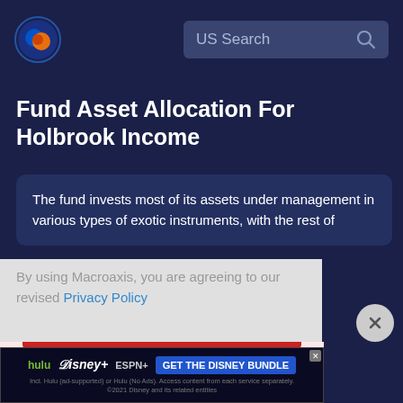US Search
Fund Asset Allocation For Holbrook Income
The fund invests most of its assets under management in various types of exotic instruments, with the rest of
By using Macroaxis, you are agreeing to our revised Privacy Policy
OK
[Figure (screenshot): Advertisement banner: GET THE DISNEY BUNDLE featuring Hulu, Disney+, ESPN+. Fine print: Incl. Hulu (ad-supported) or Hulu (No Ads). Access content from each service separately. ©2021 Disney and its related entities]